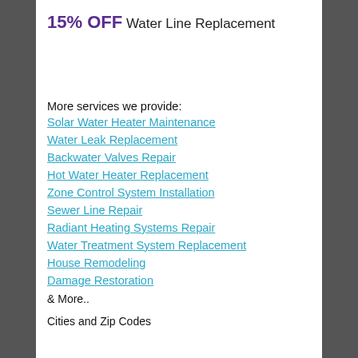15% OFF Water Line Replacement
More services we provide:
Solar Water Heater Maintenance
Water Leak Replacement
Backwater Valves Repair
Hot Water Heater Replacement
Zone Control System Installation
Sewer Line Repair
Radiant Heating Systems Repair
Water Treatment System Replacement
House Remodeling
Damage Restoration
& More..
Cities and Zip Codes